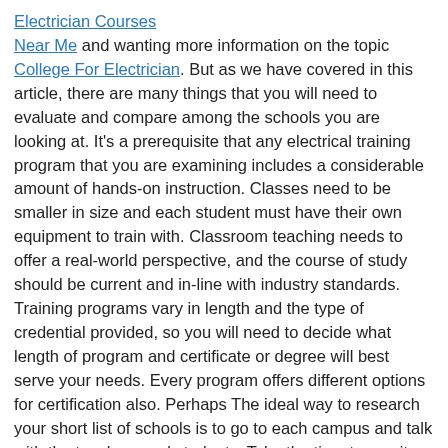Electrician Courses Near Me and wanting more information on the topic College For Electrician. But as we have covered in this article, there are many things that you will need to evaluate and compare among the schools you are looking at. It's a prerequisite that any electrical training program that you are examining includes a considerable amount of hands-on instruction. Classes need to be smaller in size and each student must have their own equipment to train with. Classroom teaching needs to offer a real-world perspective, and the course of study should be current and in-line with industry standards. Training programs vary in length and the type of credential provided, so you will need to decide what length of program and certificate or degree will best serve your needs. Every program offers different options for certification also. Perhaps The ideal way to research your short list of schools is to go to each campus and talk with the teachers and students. Take the time to monitor a few classes. Inspect the campus and facilities. Make certain that you are confident